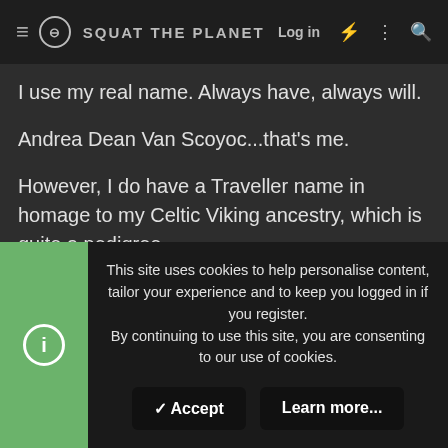≡ ⊖ SQUAT THE PLANET   Log in ⚡ ⋮ 🔍
I use my real name. Always have, always will.
Andrea Dean Van Scoyoc...that's me.
However, I do have a Traveller name in homage to my Celtic Viking ancestry, which is quite a pedigree.
I have no idea where my family went wrong and we ended up being just plain old folk by the time it got to me, but...c'est la vie.
My Traveller name is Greenlee Robertsdottir but, those that wish, just call me Greenlee or Lee.
This site uses cookies to help personalise content, tailor your experience and to keep you logged in if you register.
By continuing to use this site, you are consenting to our use of cookies.
✓ Accept   Learn more...